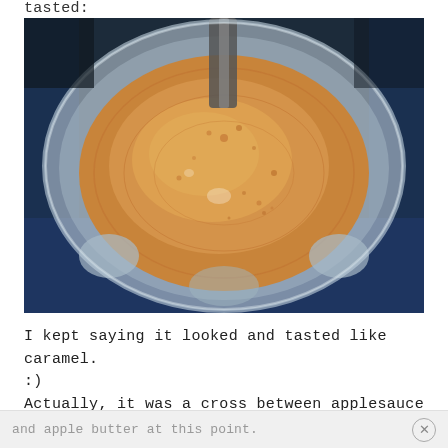tasted:
[Figure (photo): Top-down view of a blender jar containing a smooth caramel-colored liquid or puree, viewed from above showing the blades and swirled content against a dark blue background]
I kept saying it looked and tasted like caramel. :)
Actually, it was a cross between applesauce
and apple butter at this point.